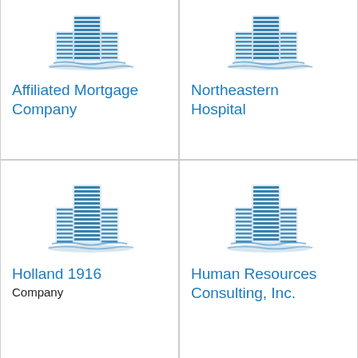[Figure (logo): Blue building/skyscraper icon for Affiliated Mortgage Company]
Affiliated Mortgage Company
[Figure (logo): Blue building/skyscraper icon for Northeastern Hospital]
Northeastern Hospital
[Figure (logo): Blue building/skyscraper icon for Holland 1916]
Holland 1916
Company
[Figure (logo): Blue building/skyscraper icon for Human Resources Consulting, Inc.]
Human Resources Consulting, Inc.
[Figure (logo): Blue building/skyscraper icon for Great Floors]
Great Floors
[Figure (logo): Blue building/skyscraper icon for Patton State Hospital]
Patton State Hospital